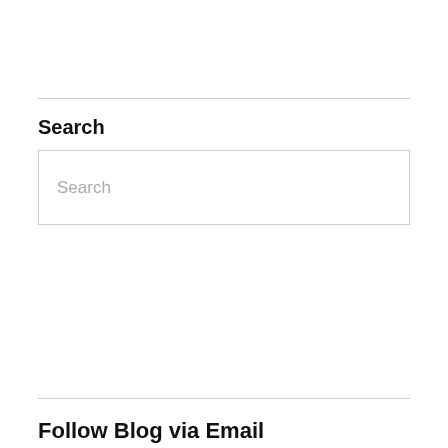Search
[Figure (screenshot): Search input box with placeholder text 'Search']
Follow Blog via Email
Enter your email address to follow this blog and receive notifications of new posts by email.
Privacy & Cookies: This site uses cookies. By continuing to use this website, you agree to their use.
To find out more, including how to control cookies, see here: Cookie Policy
Close and accept